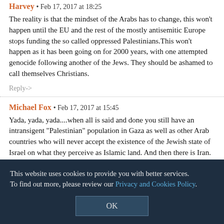Harvey • Feb 17, 2017 at 18:25
The reality is that the mindset of the Arabs has to change, this won't happen until the EU and the rest of the mostly antisemitic Europe stops funding the so called oppressed Palestinians.This won't happen as it has been going on for 2000 years, with one attempted genocide following another of the Jews. They should be ashamed to call themselves Christians.
Reply->
Michael Fox • Feb 17, 2017 at 15:45
Yada, yada, yada....when all is said and done you still have an intransigent "Palestinian" population in Gaza as well as other Arab countries who will never accept the existence of the Jewish state of Israel on what they perceive as Islamic land. And then there is Iran.
The two state solution is already a reality: Israel and Jordan.
Juanita Skelton • Feb 17, 2017 at 15:44
Brave and astute article! Thank you, Mr. Dershowitz!
This website uses cookies to provide you with better services. To find out more, please review our Privacy and Cookies Policy.
OK